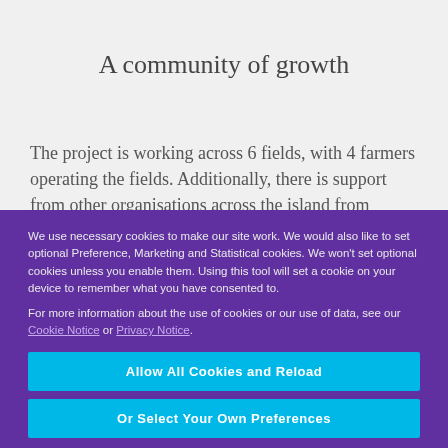A community of growth
The project is working across 6 fields, with 4 farmers operating the fields. Additionally, there is support from other organisations across the island from technology
We use necessary cookies to make our site work. We would also like to set optional Preference, Marketing and Statistical cookies. We won't set optional cookies unless you enable them. Using this tool will set a cookie on your device to remember what you have consented to.

For more information about the use of cookies or our use of data, see our Cookie Notice or Privacy Notice.

To submit a Data Privacy Request, click here

Powered by CookieScan
Allow All Cookies and Reload
Or Select Your Own Preferences